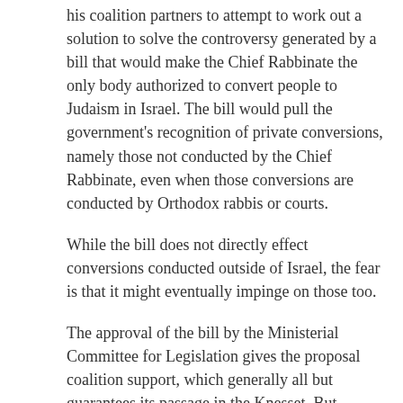his coalition partners to attempt to work out a solution to solve the controversy generated by a bill that would make the Chief Rabbinate the only body authorized to convert people to Judaism in Israel. The bill would pull the government's recognition of private conversions, namely those not conducted by the Chief Rabbinate, even when those conversions are conducted by Orthodox rabbis or courts.
While the bill does not directly effect conversions conducted outside of Israel, the fear is that it might eventually impinge on those too.
The approval of the bill by the Ministerial Committee for Legislation gives the proposal coalition support, which generally all but guarantees its passage in the Knesset. But statements against the proposal by Yisrael Beitenu leader Avigdor Lieberman could potential threaten its passing.
The PM is leaning towards delaying the Knesset vote on